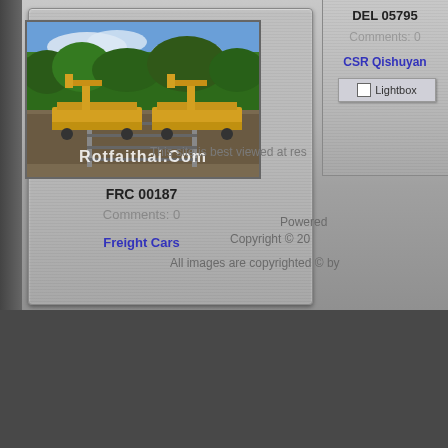[Figure (photo): Thumbnail photo of yellow freight flatcars on a railway track with green trees in background. Watermark text 'Rotfaithai.Com' overlay at bottom.]
FRC 00187
Comments: 0
Freight Cars
DEL 05795
Comments: 0
CSR Qishuyan
Lightbox
This site is best viewed at res
Powered
Copyright © 20
All images are copyrighted © by